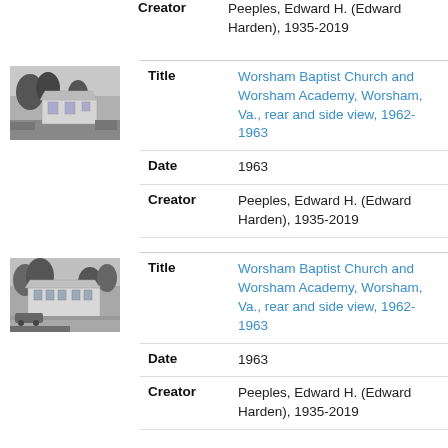Creator: Peeples, Edward H. (Edward Harden), 1935-2019
[Figure (photo): Black and white photograph of a church/building exterior, rear and side view]
Title: Worsham Baptist Church and Worsham Academy, Worsham, Va., rear and side view, 1962-1963
Date: 1963
Creator: Peeples, Edward H. (Edward Harden), 1935-2019
[Figure (photo): Black and white photograph of a church/building exterior with trees]
Title: Worsham Baptist Church and Worsham Academy, Worsham, Va., rear and side view, 1962-1963
Date: 1963
Creator: Peeples, Edward H. (Edward Harden), 1935-2019